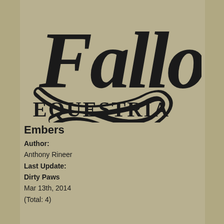[Figure (logo): Fallout Equestria logo — large stylized black italic text 'Fallout' with a decorative swirl beneath, and 'EQUESTRIA' in western-style block lettering below.]
Embers
Author:
Anthony Rineer
Last Update:
Dirty Paws
Mar 13th, 2014
(Total: 4)
When a mare, by the name of Wary, and her sister get kicked out of their stable, they discover the vast, ruthless wasteland. Follow Wary, her sister, and friends she picks up along the way, as they travel from Baltimare and to the Fabulous Las Pegasus!…